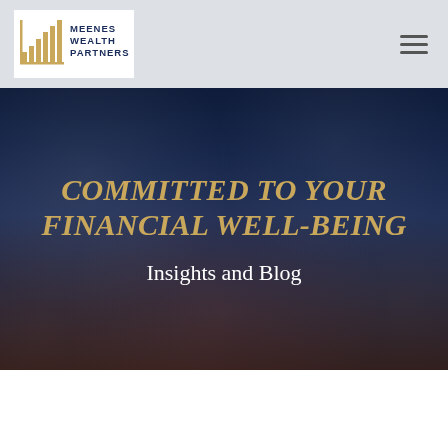[Figure (logo): Meenes Wealth Partners logo with gold bar chart icon and navy blue text]
COMMITTED TO YOUR FINANCIAL WELL-BEING
Insights and Blog